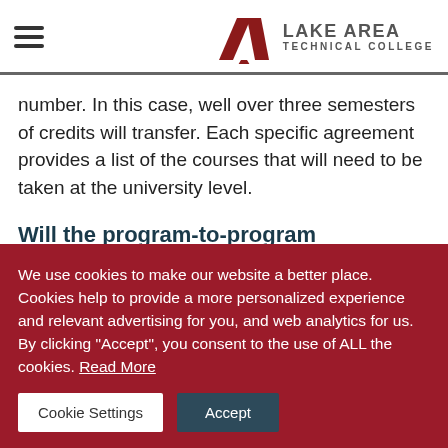Lake Area Technical College
number. In this case, well over three semesters of credits will transfer. Each specific agreement provides a list of the courses that will need to be taken at the university level.
Will the program-to-program agreement allow me to start at the university level at junior status?
We use cookies to make our website a better place. Cookies help to provide a more personalized experience and relevant advertising for you, and web analytics for us. By clicking “Accept”, you consent to the use of ALL the cookies. Read More
Cookie Settings | Accept